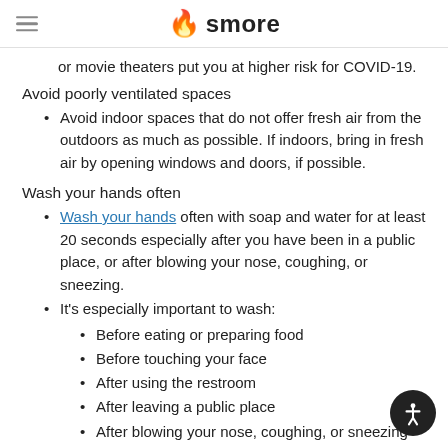smore
or movie theaters put you at higher risk for COVID-19.
Avoid poorly ventilated spaces
Avoid indoor spaces that do not offer fresh air from the outdoors as much as possible. If indoors, bring in fresh air by opening windows and doors, if possible.
Wash your hands often
Wash your hands often with soap and water for at least 20 seconds especially after you have been in a public place, or after blowing your nose, coughing, or sneezing.
It's especially important to wash:
Before eating or preparing food
Before touching your face
After using the restroom
After leaving a public place
After blowing your nose, coughing, or sneezing
After handling your mask
After changing a diaper